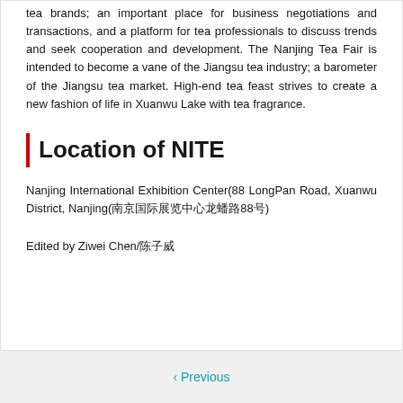tea brands; an important place for business negotiations and transactions, and a platform for tea professionals to discuss trends and seek cooperation and development. The Nanjing Tea Fair is intended to become a vane of the Jiangsu tea industry; a barometer of the Jiangsu tea market. High-end tea feast strives to create a new fashion of life in Xuanwu Lake with tea fragrance.
Location of NITE
Nanjing International Exhibition Center(88 LongPan Road, Xuanwu District, Nanjing(南京国际展览中心龙蟠路88号)
Edited by Ziwei Chen/陈子威
< Previous